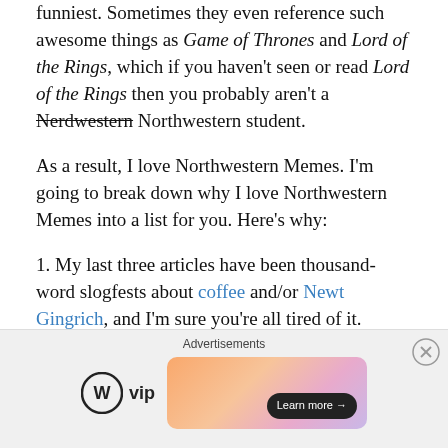funniest. Sometimes they even reference such awesome things as Game of Thrones and Lord of the Rings, which if you haven't seen or read Lord of the Rings then you probably aren't a Nerdwestern Northwestern student.
As a result, I love Northwestern Memes. I'm going to break down why I love Northwestern Memes into a list for you. Here's why:
1. My last three articles have been thousand-word slogfests about coffee and/or Newt Gingrich, and I'm sure you're all tired of it.
2. Sherman Ave is even better at doing lists than we are at making YouTube videos that get 10,000 hits in two days, so this is pretty much guaranteed to be awesome.
[Figure (other): Advertisement bar with WordPress VIP logo and a gradient banner ad with Learn more button]